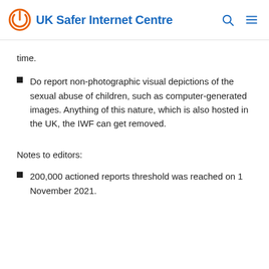UK Safer Internet Centre
time.
Do report non-photographic visual depictions of the sexual abuse of children, such as computer-generated images. Anything of this nature, which is also hosted in the UK, the IWF can get removed.
Notes to editors:
200,000 actioned reports threshold was reached on 1 November 2021.